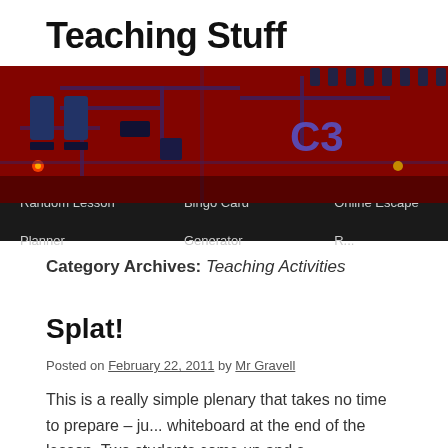Teaching Stuff
[Figure (photo): Close-up photograph of a red circuit board showing electronic components, capacitors, and the label C3]
Random Lesson Planner   Bingo Card Generator   Online Escape R...
Category Archives: Teaching Activities
Splat!
Posted on February 22, 2011 by Mr Gravell
This is a really simple plenary that takes no time to prepare – ju... whiteboard at the end of the lesson. Two students come up and s...
Continue reading →